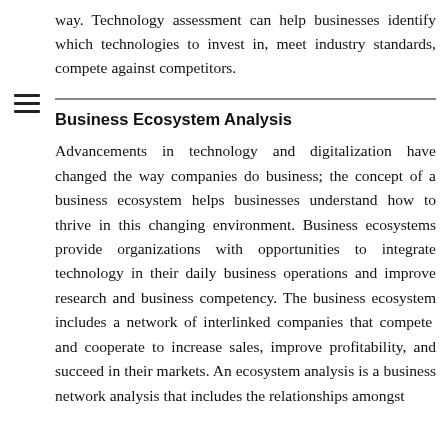way. Technology assessment can help businesses identify which technologies to invest in, meet industry standards, compete against competitors.
Business Ecosystem Analysis
Advancements in technology and digitalization have changed the way companies do business; the concept of a business ecosystem helps businesses understand how to thrive in this changing environment. Business ecosystems provide organizations with opportunities to integrate technology in their daily business operations and improve research and business competency. The business ecosystem includes a network of interlinked companies that compete and cooperate to increase sales, improve profitability, and succeed in their markets. An ecosystem analysis is a business network analysis that includes the relationships amongst